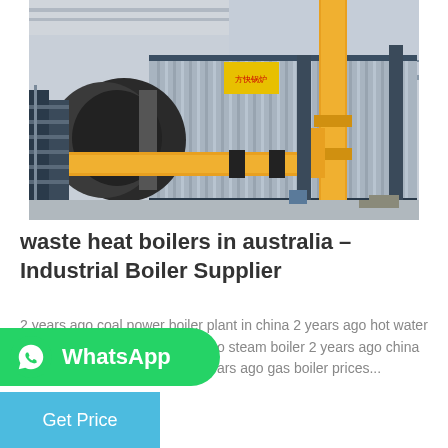[Figure (photo): Industrial boiler system in a large factory/warehouse. A large gas-fired steam boiler unit with black cylindrical burner on the left, silver corrugated metal cladding enclosure, yellow gas pipes and fittings, and steel support structures on a concrete floor.]
waste heat boilers in australia – Industrial Boiler Supplier
2 years ago coal power boiler plant in china 2 years ago hot water boiler manufacturers 2 years ago steam boiler 2 years ago china high quality gas fired boiler 2 years ago gas boiler prices...